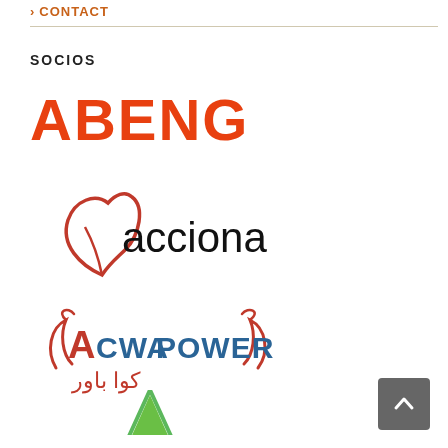CONTACT
SOCIOS
[Figure (logo): ABENGOA logo in orange bold text]
[Figure (logo): acciona logo with red leaf icon]
[Figure (logo): ACWA POWER logo with Arabic text]
[Figure (logo): Partial green A logo at bottom]